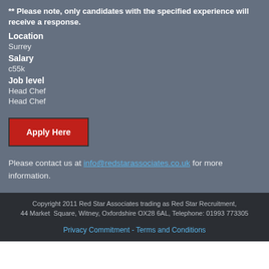** Please note, only candidates with the specified experience will receive a response.
Location
Surrey
Salary
c55k
Job level
Head Chef
Head Chef
Apply Here
Please contact us at info@redstarassociates.co.uk for more information.
Copyright 2011 Red Star Associates trading as Red Star Recruitment, 44 Market Square, Witney, Oxfordshire OX28 6AL, Telephone: 01993 773305
Privacy Commitment - Terms and Conditions